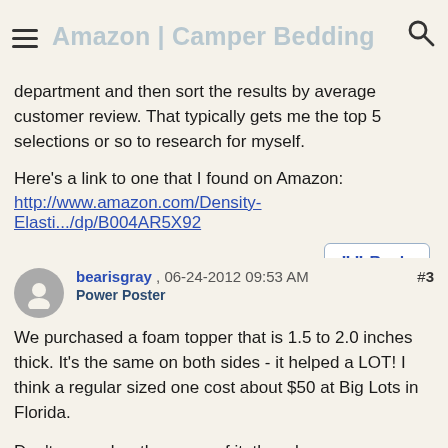Amazon | Camper Bedding
department and then sort the results by average customer review. That typically gets me the top 5 selections or so to research for myself.
Here's a link to one that I found on Amazon:
http://www.amazon.com/Density-Elasti.../dp/B004AR5X92
Reply
bearisgray , 06-24-2012 09:53 AM
Power Poster
#3
We purchased a foam topper that is 1.5 to 2.0 inches thick. It's the same on both sides - it helped a LOT! I think a regular sized one cost about $50 at Big Lots in Florida.
Don't remember the name of it, though.
Two cautions about it: The packaging said to let it 'relax' and